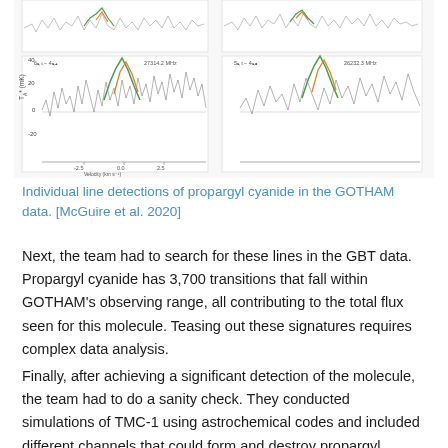[Figure (continuous-plot): Two spectral line plots at top of page showing radio telescope data. Top-left panel labeled '6_1,6 - 4_1,4, 27314.2 MHz', top-right panel labeled '5_1,5 - 4_1,3, 26232.3 MHz'. Each panel shows T_A* (mK) vs Velocity (km/s) with noisy spectral lines and colored (orange/green) overlaid model curves.]
Individual line detections of propargyl cyanide in the GOTHAM data. [McGuire et al. 2020]
Next, the team had to search for these lines in the GBT data. Propargyl cyanide has 3,700 transitions that fall within GOTHAM's observing range, all contributing to the total flux seen for this molecule. Teasing out these signatures requires complex data analysis.
Finally, after achieving a significant detection of the molecule, the team had to do a sanity check. They conducted simulations of TMC-1 using astrochemical codes and included different channels that could form and destroy propargyl cyanide. They then checked that the